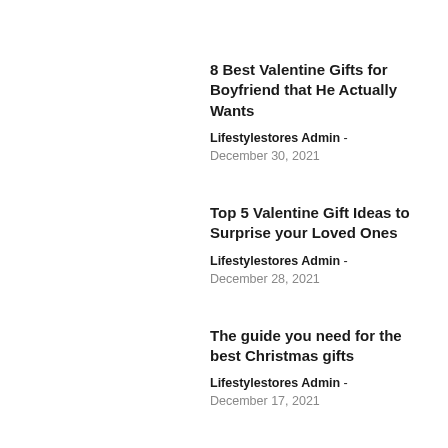8 Best Valentine Gifts for Boyfriend that He Actually Wants
Lifestylestores Admin - December 30, 2021
Top 5 Valentine Gift Ideas to Surprise your Loved Ones
Lifestylestores Admin - December 28, 2021
The guide you need for the best Christmas gifts
Lifestylestores Admin - December 17, 2021